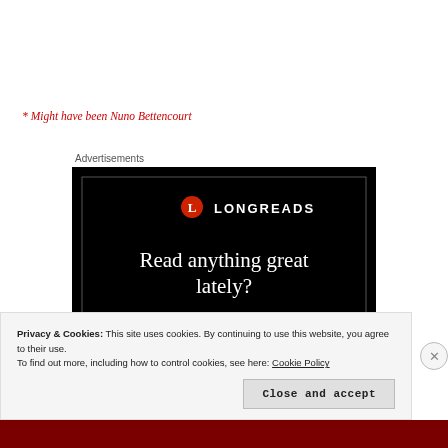* Might have been Nuno Bettencourt
Advertisements
[Figure (illustration): Longreads advertisement on black background with red circular logo bearing the letter L, text reading 'LONGREADS' in white, and headline 'Read anything great lately?' in white serif font.]
Privacy & Cookies: This site uses cookies. By continuing to use this website, you agree to their use.
To find out more, including how to control cookies, see here: Cookie Policy
Close and accept